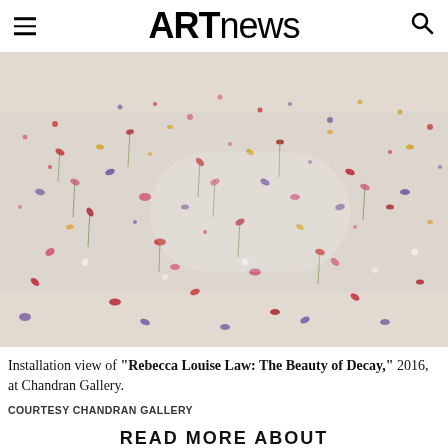ARTnews
[Figure (photo): Installation view of scattered colorful dried flowers suspended or lying on a light surface, from 'Rebecca Louise Law: The Beauty of Decay,' 2016, at Chandran Gallery.]
Installation view of “Rebecca Louise Law: The Beauty of Decay,” 2016, at Chandran Gallery.
COURTESY CHANDRAN GALLERY
READ MORE ABOUT